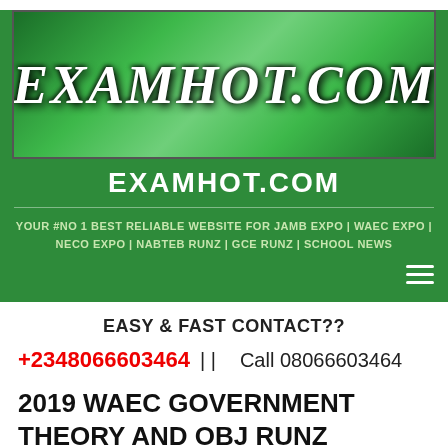[Figure (logo): EXAMHOT.COM banner logo with green wavy background and italic bold white text]
EXAMHOT.COM
YOUR #NO 1 BEST RELIABLE WEBSITE FOR JAMB EXPO | WAEC EXPO | NECO EXPO | NABTEB RUNZ | GCE RUNZ | SCHOOL NEWS
EASY & FAST CONTACT??
+2348066603464 | |        Call 08066603464
2019 WAEC GOVERNMENT THEORY AND OBJ RUNZ ANSWER
May 20, 2019   Mr Ben